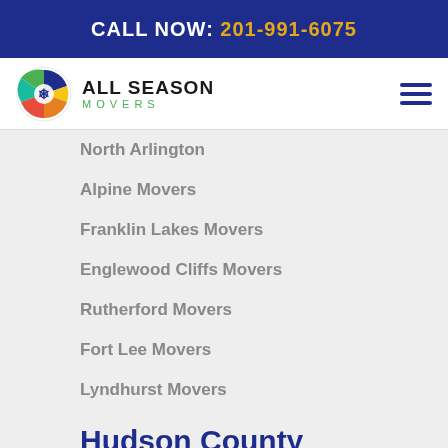CALL NOW: 201-991-6075
[Figure (logo): All Season Movers logo with colorful circular emblem and text]
North Arlington
Alpine Movers
Franklin Lakes Movers
Englewood Cliffs Movers
Rutherford Movers
Fort Lee Movers
Lyndhurst Movers
Hudson County
Hoboken Movers